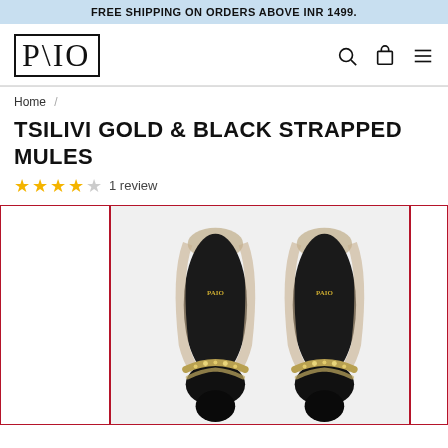FREE SHIPPING ON ORDERS ABOVE INR 1499.
[Figure (logo): PAIO brand logo in a rectangular border]
Home /
TSILIVI GOLD & BLACK STRAPPED MULES
★★★★☆ 1 review
[Figure (photo): Top-down view of two black and gold strapped mules (PAIO brand) with clear/gold straps and sparkly toe straps on white background]